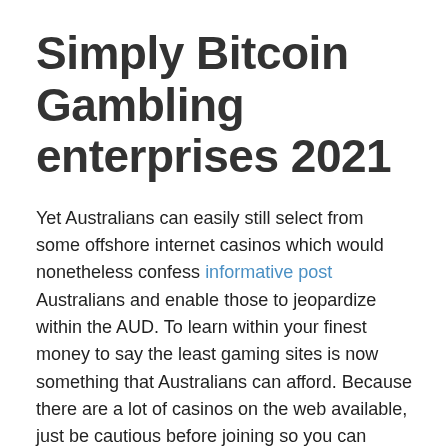Simply Bitcoin Gambling enterprises 2021
Yet Australians can easily still select from some offshore internet casinos which would nonetheless confess informative post Australians and enable those to jeopardize within the AUD. To learn within your finest money to say the least gaming sites is now something that Australians can afford. Because there are a lot of casinos on the web available, just be cautious before joining so you can parting utilizing your wages. Several casinos on the internet don't have a good recognition and have been blocked with the revealed user platforms.